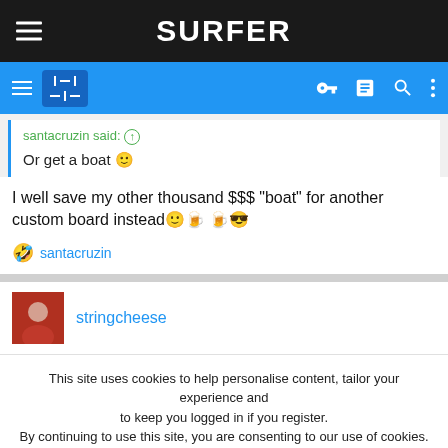SURFER
santacruzin said: ↑
Or get a boat 🙂
I well save my other thousand $$$ "boat" for another custom board instead🙂🍺🍺😎
santacruzin
stringcheese
This site uses cookies to help personalise content, tailor your experience and to keep you logged in if you register.
By continuing to use this site, you are consenting to our use of cookies.
ACCEPT   LEARN MORE...